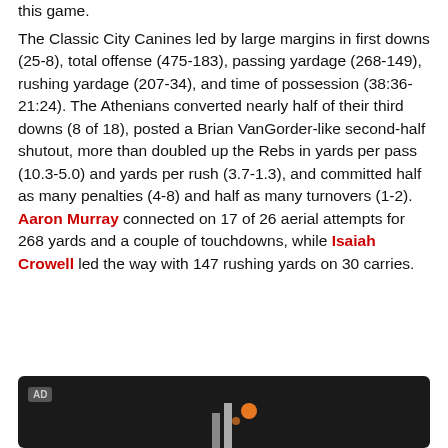this game.
The Classic City Canines led by large margins in first downs (25-8), total offense (475-183), passing yardage (268-149), rushing yardage (207-34), and time of possession (38:36-21:24). The Athenians converted nearly half of their third downs (8 of 18), posted a Brian VanGorder-like second-half shutout, more than doubled up the Rebs in yards per pass (10.3-5.0) and yards per rush (3.7-1.3), and committed half as many penalties (4-8) and half as many turnovers (1-2). Aaron Murray connected on 17 of 26 aerial attempts for 268 yards and a couple of touchdowns, while Isaiah Crowell led the way with 147 rushing yards on 30 carries.
[Figure (other): Advertisement box with dark background, AD label, and partial graphic content with colored dots and bar elements]